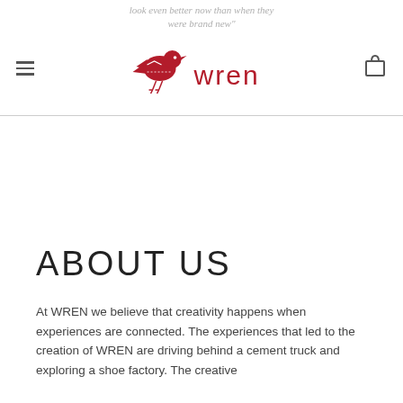look even better now than when they were brand new"
[Figure (logo): Wren brand logo: red bird illustration next to stylized 'wren' wordmark in red]
ABOUT US
At WREN we believe that creativity happens when experiences are connected. The experiences that led to the creation of WREN are driving behind a cement truck and exploring a shoe factory. The creative